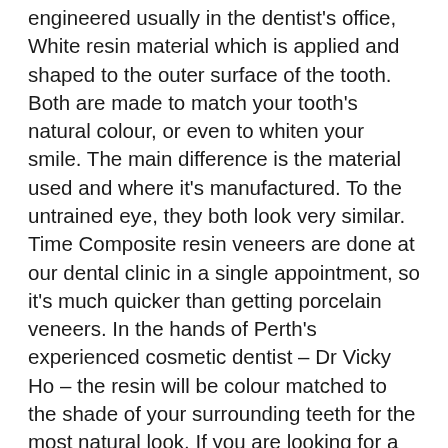engineered usually in the dentist's office, White resin material which is applied and shaped to the outer surface of the tooth. Both are made to match your tooth's natural colour, or even to whiten your smile. The main difference is the material used and where it's manufactured. To the untrained eye, they both look very similar. Time Composite resin veneers are done at our dental clinic in a single appointment, so it's much quicker than getting porcelain veneers. In the hands of Perth's experienced cosmetic dentist – Dr Vicky Ho – the resin will be colour matched to the shade of your surrounding teeth for the most natural look. If you are looking for a whiter look, Dr Ho will select a whiter color to get the desired effect. Once the resin is added to your teeth, cured and then polished, you'll walk out with a fab new smile! Porcelain veneers typically take at least two visits because…